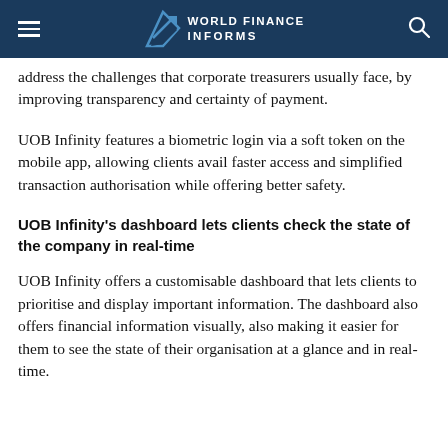World Finance Informs
address the challenges that corporate treasurers usually face, by improving transparency and certainty of payment.
UOB Infinity features a biometric login via a soft token on the mobile app, allowing clients avail faster access and simplified transaction authorisation while offering better safety.
UOB Infinity's dashboard lets clients check the state of the company in real-time
UOB Infinity offers a customisable dashboard that lets clients to prioritise and display important information. The dashboard also offers financial information visually, also making it easier for them to see the state of their organisation at a glance and in real-time.